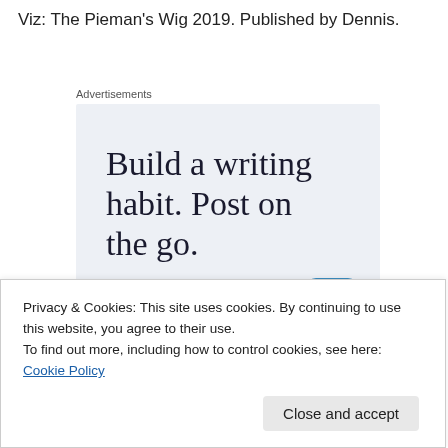Viz: The Pieman's Wig 2019. Published by Dennis.
Advertisements
[Figure (other): WordPress advertisement banner with text 'Build a writing habit. Post on the go.' and a 'GET THE APP' call to action with WordPress logo]
Privacy & Cookies: This site uses cookies. By continuing to use this website, you agree to their use.
To find out more, including how to control cookies, see here: Cookie Policy
Close and accept